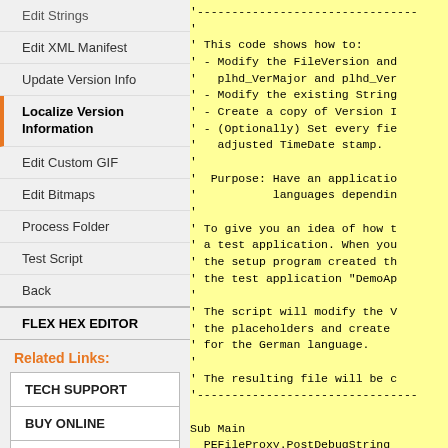Edit Strings
Edit XML Manifest
Update Version Info
Localize Version Information
Edit Custom GIF
Edit Bitmaps
Process Folder
Test Script
Back
FLEX HEX EDITOR
Related Links:
TECH SUPPORT
BUY ONLINE
TRIAL DOWNLOADS
'--------------------------------
'
' This code shows how to:
' - Modify the FileVersion and
'   plhd_VerMajor and plhd_Ver
' - Modify the existing String
' - Create a copy of Version I
' - (Optionally) Set every fie
'   adjusted TimeDate stamp.
'
'  Purpose: Have an applicatio
'           languages dependin
'
' To give you an idea of how t
' a test application. When you
' the setup program created th
' the test application "DemoAp
'
' The script will modify the V
' the placeholders and create
' for the German language.
'
' The resulting file will be c
'--------------------------------

Sub Main
  PEFileProxy.PostDebugString
  PEFileProxy.UpdateCheckSum =

  PEFileProxy.PostDebugString